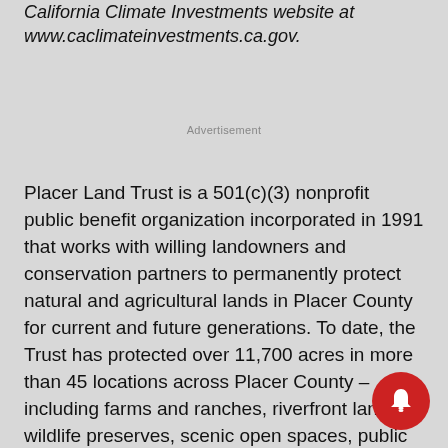California Climate Investments website at www.caclimateinvestments.ca.gov.
Advertisement
Placer Land Trust is a 501(c)(3) nonprofit public benefit organization incorporated in 1991 that works with willing landowners and conservation partners to permanently protect natural and agricultural lands in Placer County for current and future generations. To date, the Trust has protected over 11,700 acres in more than 45 locations across Placer County – including farms and ranches, riverfront lands, wildlife preserves, scenic open spaces, public parks and recreation